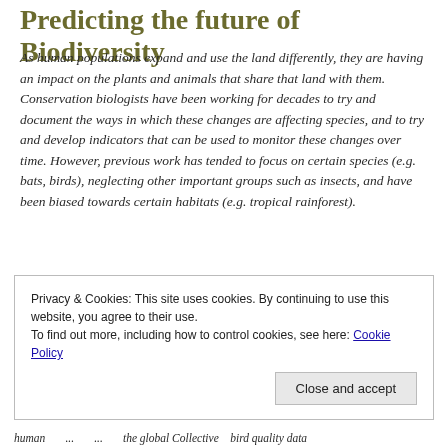Predicting the future of Biodiversity
As human populations expand and use the land differently, they are having an impact on the plants and animals that share that land with them. Conservation biologists have been working for decades to try and document the ways in which these changes are affecting species, and to try and develop indicators that can be used to monitor these changes over time. However, previous work has tended to focus on certain species (e.g. bats, birds), neglecting other important groups such as insects, and have been biased towards certain habitats (e.g. tropical rainforest).
Privacy & Cookies: This site uses cookies. By continuing to use this website, you agree to their use.
To find out more, including how to control cookies, see here: Cookie Policy
Close and accept
human ... ... ... the global Collective bird quality data